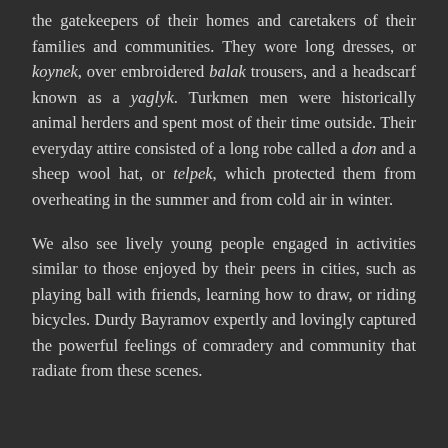the gatekeepers of their homes and caretakers of their families and communities. They wore long dresses, or koynek, over embroidered balak trousers, and a headscarf known as a yaglyk. Turkmen men were historically animal herders and spent most of their time outside. Their everyday attire consisted of a long robe called a don and a sheep wool hat, or telpek, which protected them from overheating in the summer and from cold air in winter.
We also see lively young people engaged in activities similar to those enjoyed by their peers in cities, such as playing ball with friends, learning how to draw, or riding bicycles. Durdy Bayramov expertly and lovingly captured the powerful feelings of comradery and community that radiate from these scenes.